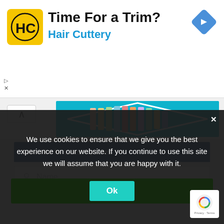[Figure (screenshot): Hair Cuttery advertisement banner: HC logo (yellow rounded square), 'Time For a Trim?' headline, 'Hair Cuttery' subheading in blue, blue diamond navigation icon, ad controls]
[Figure (photo): Colorful clothing on hangers arranged in a diamond/chevron shape on a teal background, partially visible with a white up-arrow button on the left]
Subscribe for Latest Updates
Name (input field placeholder)
We use cookies to ensure that we give you the best experience on our website. If you continue to use this site we will assume that you are happy with it.
Ok